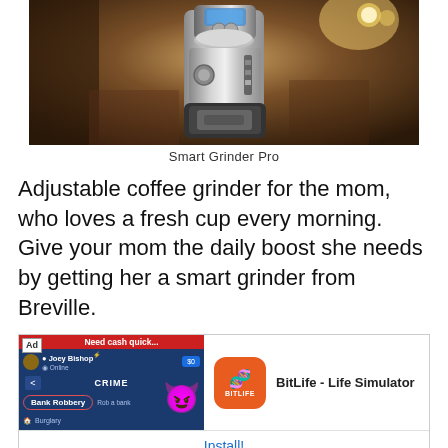[Figure (photo): Photo of a Breville Smart Grinder Pro coffee grinder, a stainless steel appliance on a kitchen counter with warm ambient lighting]
Smart Grinder Pro
Adjustable coffee grinder for the mom, who loves a fresh cup every morning. Give your mom the daily boost she needs by getting her a smart grinder from Breville.
[Figure (screenshot): BitLife - Life Simulator advertisement showing a game screenshot with CRIME menu and Bank Robbery option, alongside the BitLife orange app icon. Ad label visible. Install button at bottom.]